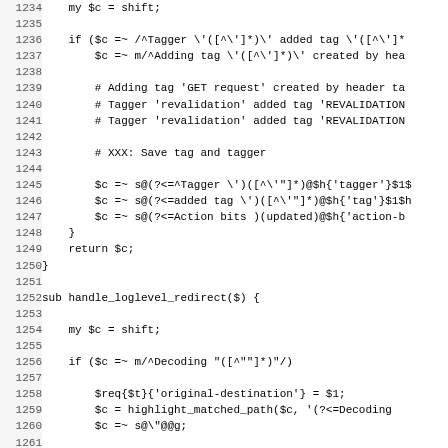[Figure (screenshot): Source code listing in monospace font showing Perl code lines 1234-1266, including subroutine handle_loglevel_redirect with regex operations and conditionals.]